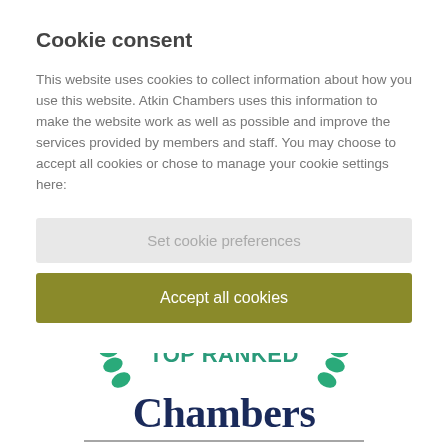Cookie consent
This website uses cookies to collect information about how you use this website. Atkin Chambers uses this information to make the website work as well as possible and improve the services provided by members and staff. You may choose to accept all cookies or chose to manage your cookie settings here:
[Figure (screenshot): Button labeled 'Set cookie preferences' with light grey background]
[Figure (screenshot): Button labeled 'Accept all cookies' with olive/dark yellow-green background and white text]
[Figure (logo): Chambers Top Ranked badge with teal laurel branches, teal 'TOP RANKED' text, and dark navy 'Chambers' serif text]